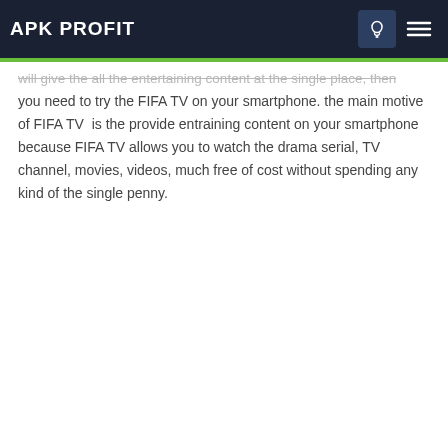APK PROFIT
will give the all the entertaining content at the single place, then you need to try the FIFA TV on your smartphone. the main motive of FIFA TV  is the provide entraining content on your smartphone because FIFA TV allows you to watch the drama serial, TV channel, movies, videos, much free of cost without spending any kind of the single penny.